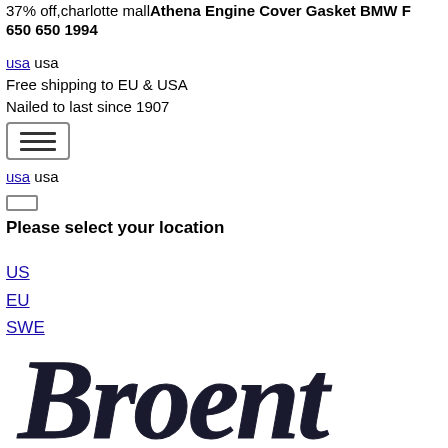37% off,charlotte mall Athena Engine Cover Gasket BMW F 650 650 1994
usa usa
Free shipping to EU & USA
Nailed to last since 1907
[Figure (other): Hamburger menu button icon]
usa usa
(small rectangle/button)
Please select your location
US
EU
SWE
[Figure (logo): Decorative cursive script logo text partially visible reading 'Broent' or similar]